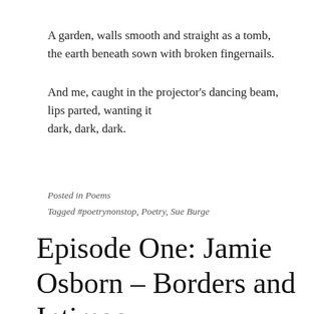A garden, walls smooth and straight as a tomb,
the earth beneath sown with broken fingernails.
And me, caught in the projector's dancing beam,
lips parted, wanting it
dark, dark, dark.
Posted in Poems
Tagged #poetrynonstop, Poetry, Sue Burge
Episode One: Jamie Osborn – Borders and Intimacy